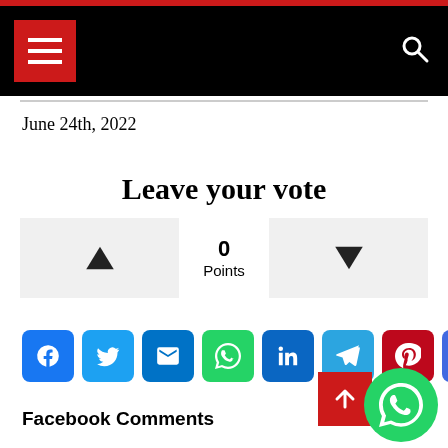Navigation header with hamburger menu and search icon
June 24th, 2022
Leave your vote
0 Points (upvote/downvote buttons)
[Figure (infographic): Social share buttons row: Facebook, Twitter, Email, WhatsApp, LinkedIn, Telegram, Pinterest, More]
Facebook Comments
[Figure (infographic): Scroll to top button (red) and WhatsApp floating action button (green)]